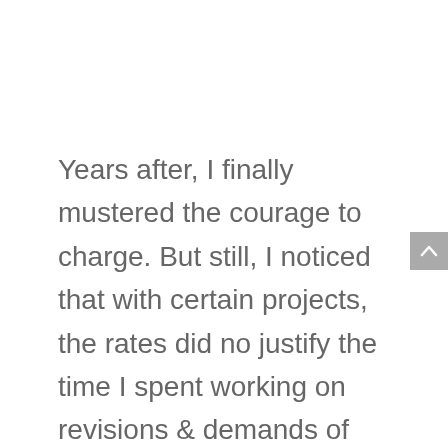Years after, I finally mustered the courage to charge.  But still, I noticed that with certain projects, the rates did no justify the time I spent working on revisions & demands of the client.
*Artwork revisions totally deserve a different blog post but let's just